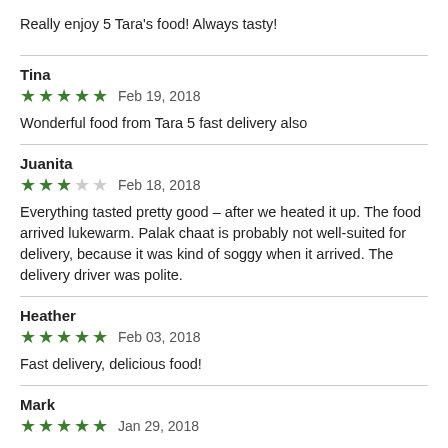Really enjoy 5 Tara's food! Always tasty!
Tina
★★★★★  Feb 19, 2018
Wonderful food from Tara 5 fast delivery also
Juanita
★★★☆☆  Feb 18, 2018
Everything tasted pretty good – after we heated it up. The food arrived lukewarm. Palak chaat is probably not well-suited for delivery, because it was kind of soggy when it arrived. The delivery driver was polite.
Heather
★★★★★  Feb 03, 2018
Fast delivery, delicious food!
Mark
★★★★★  Jan 29, 2018
Excellent food! Somebody at...